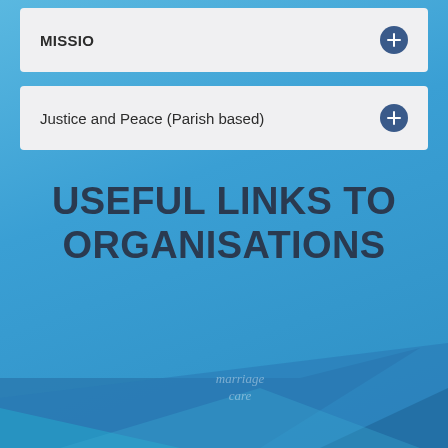MISSIO
Justice and Peace (Parish based)
USEFUL LINKS TO ORGANISATIONS
[Figure (illustration): Bottom decorative geometric shapes in lighter and darker blue tones with a faint 'marriage care' logo watermark]